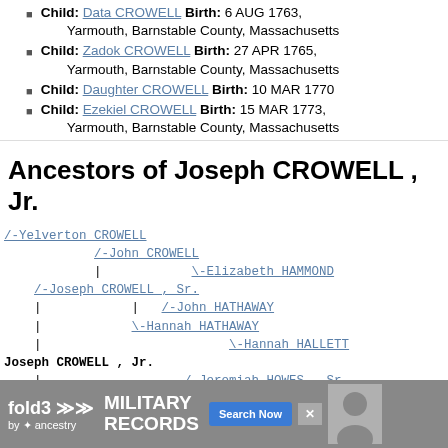Child: Data CROWELL Birth: 6 AUG 1763, Yarmouth, Barnstable County, Massachusetts
Child: Zadok CROWELL Birth: 27 APR 1765, Yarmouth, Barnstable County, Massachusetts
Child: Daughter CROWELL Birth: 10 MAR 1770
Child: Ezekiel CROWELL Birth: 15 MAR 1773, Yarmouth, Barnstable County, Massachusetts
Ancestors of Joseph CROWELL , Jr.
/-Yelverton CROWELL
/-John CROWELL
| \-Elizabeth HAMMOND
/-Joseph CROWELL , Sr.
| | /-John HATHAWAY
| \-Hannah HATHAWAY
| \-Hannah HALLETT
Joseph CROWELL , Jr.
| /-Jeremiah HOWES , Sr.
| /-Jeremiah HOWES , Jr.
| | \-Sarah PRENCE
\-Sarah HOWES
| /-Thomas DAGGETT
\-Mary DAGGETT
[Figure (infographic): fold3 by Ancestry advertisement banner for Military Records with Search Now button]